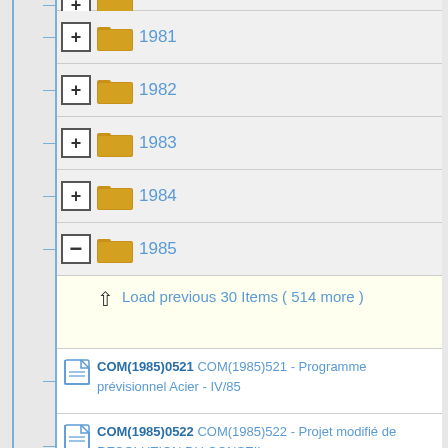1981
1982
1983
1984
1985
Load previous 30 Items ( 514 more )
COM(1985)0521 COM(1985)521 - Programme prévisionnel Acier - IV/85
COM(1985)0522 COM(1985)522 - Projet modifié de RESOLUTION DU CONSEIL
COM(1985)0523 COM(1985)523 - Modification à la PROPOSITION DE
COM(1985)0524 COM(1985)524 - COMMUNICATION DE LA COMMISSION
COM(1985)0525 COM(1985)525 - NOUVEAU REGIME COMMUNAUTAIRE